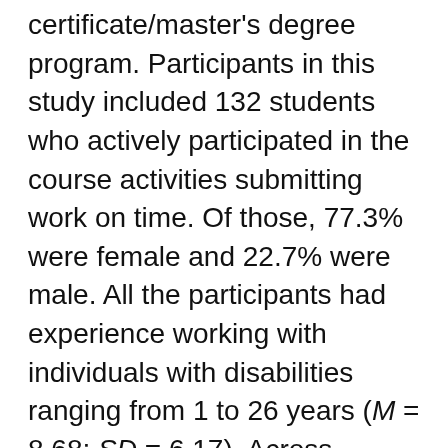certificate/master's degree program. Participants in this study included 132 students who actively participated in the course activities submitting work on time. Of those, 77.3% were female and 22.7% were male. All the participants had experience working with individuals with disabilities ranging from 1 to 26 years (M = 8.68; SD = 6.17). Across semesters, five students identified disabilities documented through the Office of Disability Services (two persons with visual impairment; two persons with learning disability; one person with hearing impairment). All participants had taken at least one online course before. Additional demographics are presented in Table 2.